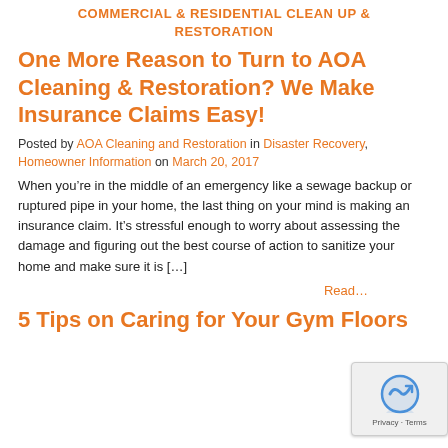COMMERCIAL & RESIDENTIAL CLEAN UP & RESTORATION
One More Reason to Turn to AOA Cleaning & Restoration? We Make Insurance Claims Easy!
Posted by AOA Cleaning and Restoration in Disaster Recovery, Homeowner Information on March 20, 2017
When you’re in the middle of an emergency like a sewage backup or ruptured pipe in your home, the last thing on your mind is making an insurance claim. It’s stressful enough to worry about assessing the damage and figuring out the best course of action to sanitize your home and make sure it is […]
Read…
5 Tips on Caring for Your Gym Floors